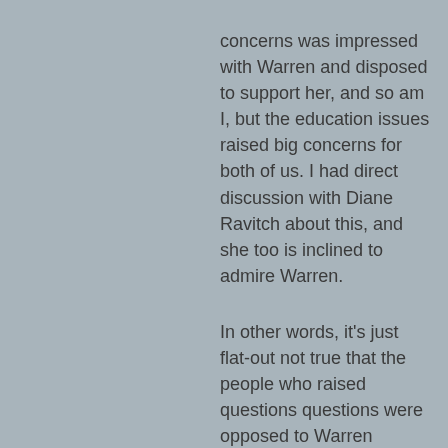concerns was impressed with Warren and disposed to support her, and so am I, but the education issues raised big concerns for both of us. I had direct discussion with Diane Ravitch about this, and she too is inclined to admire Warren.

In other words, it's just flat-out not true that the people who raised questions questions were opposed to Warren